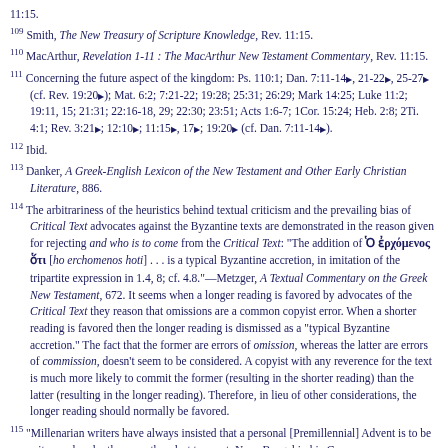11:15.
109 Smith, The New Treasury of Scripture Knowledge, Rev. 11:15.
110 MacArthur, Revelation 1-11 : The MacArthur New Testament Commentary, Rev. 11:15.
111 Concerning the future aspect of the kingdom: Ps. 110:1; Dan. 7:11-14▶, 21-22▶, 25-27▶ (cf. Rev. 19:20▶); Mat. 6:2; 7:21-22; 19:28; 25:31; 26:29; Mark 14:25; Luke 11:2; 19:11, 15; 21:31; 22:16-18, 29; 22:30; 23:51; Acts 1:6-7; 1Cor. 15:24; Heb. 2:8; 2Ti. 4:1; Rev. 3:21▶; 12:10▶; 11:15▶, 17▶; 19:20▶ (cf. Dan. 7:11-14▶).
112 Ibid.
113 Danker, A Greek-English Lexicon of the New Testament and Other Early Christian Literature, 886.
114 The arbitrariness of the heuristics behind textual criticism and the prevailing bias of Critical Text advocates against the Byzantine texts are demonstrated in the reason given for rejecting and who is to come from the Critical Text: "The addition of Ὁ ἐρχόμενος ὅτι [ho erchomenos hoti] . . . is a typical Byzantine accretion, in imitation of the tripartite expression in 1.4, 8; cf. 4.8."—Metzger, A Textual Commentary on the Greek New Testament, 672. It seems when a longer reading is favored by advocates of the Critical Text they reason that omissions are a common copyist error. When a shorter reading is favored then the longer reading is dismissed as a "typical Byzantine accretion." The fact that the former are errors of omission, whereas the latter are errors of commission, doesn't seem to be considered. A copyist with any reverence for the text is much more likely to commit the former (resulting in the shorter reading) than the latter (resulting in the longer reading). Therefore, in lieu of other considerations, the longer reading should normally be favored.
115 "Millenarian writers have always insisted that a personal [Premillennial] Advent is to be witnessed under the seventh or last trumpet. Now, Bengel in his Gnomon